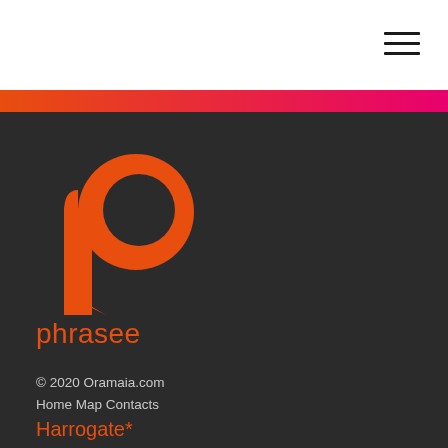[Figure (logo): Hamburger menu icon (three horizontal lines) in top right corner of white header bar]
[Figure (logo): Phrasee brand logo: orange speech-bubble 'p' shape above the word 'phrasee' in orange, on dark background]
© 2020 Oramaia.com
Home Map Contacts
Harrogate*